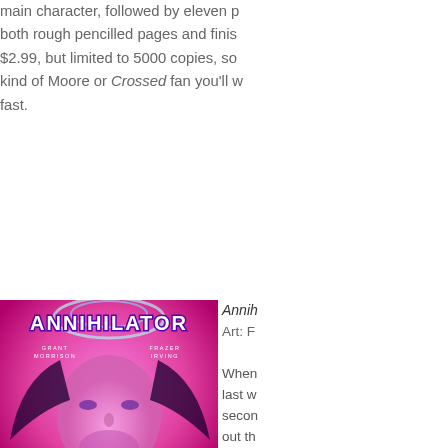main character, followed by eleven p both rough pencilled pages and finis $2.99, but limited to 5000 copies, so kind of Moore or Crossed fan you'll w fast.
[Figure (illustration): Comic book cover for 'Annihilator' issue two, by Grant Morrison and Frazer Irving. Published by Legendary. Vivid pink and purple cosmic imagery with a large shadowy figure and stylized face. White bold logo text reads ANNIHILATOR at the top.]
Annihilator Art: F When last w secon out th secon If any thoug const anywa thoug